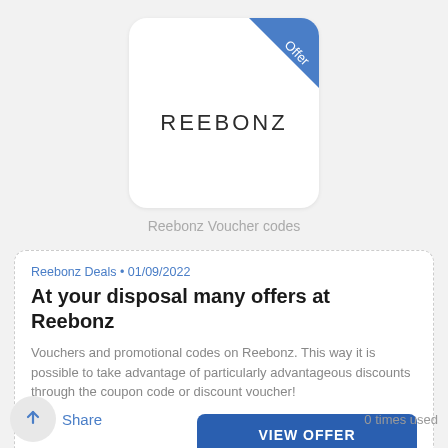[Figure (logo): Reebonz logo card with white background, rounded corners, blue diagonal ribbon in top-right corner with 'Offer' text, and 'REEBONZ' text in center]
Reebonz Voucher codes
Reebonz Deals • 01/09/2022
At your disposal many offers at Reebonz
Vouchers and promotional codes on Reebonz. This way it is possible to take advantage of particularly advantageous discounts through the coupon code or discount voucher!
VIEW OFFER
Share
0 times used